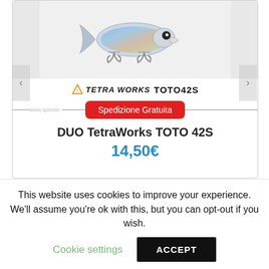[Figure (photo): Fishing lure (DUO TetraWorks TOTO 42S) with holographic finish and treble hooks on light background]
[Figure (logo): Tetra Works TOTO42S brand logo with triangle icon]
Spedizione Gratuita
DUO TetraWorks TOTO 42S
14,50€
This website uses cookies to improve your experience. We'll assume you're ok with this, but you can opt-out if you wish.
Cookie settings
ACCEPT